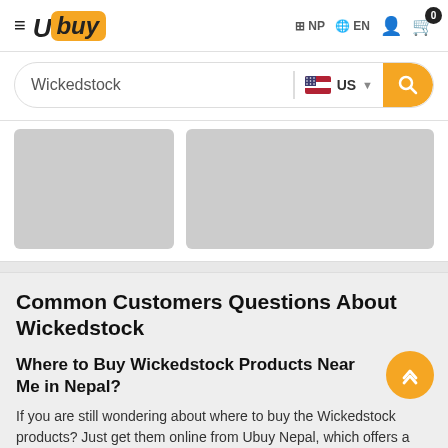[Figure (logo): Ubuy logo with hamburger menu, NP and EN locale selectors, user icon, and cart with badge 0]
[Figure (screenshot): Search bar with text 'Wickedstock', US flag country selector, and yellow search button]
[Figure (photo): Two grey placeholder product image boxes]
Common Customers Questions About Wickedstock
Where to Buy Wickedstock Products Near Me in Nepal?
If you are still wondering about where to buy the Wickedstock products? Just get them online from Ubuy Nepal, which offers a huge range of Wickedstock products at discount prices in